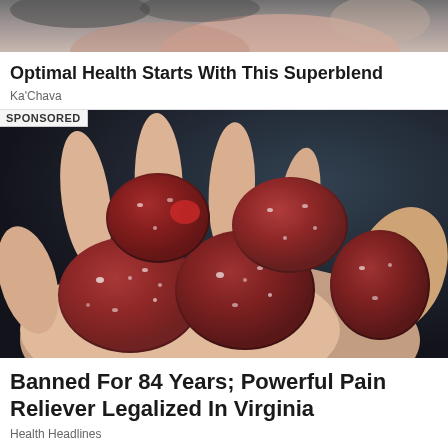[Figure (photo): Top strip of a person holding something, partially cropped — blurred background image strip at the top of the page]
Optimal Health Starts With This Superblend
Ka'Chava
SPONSORED
[Figure (photo): A hand holding several red/dark sugar-coated gummy candies against a dark blurred background]
Banned For 84 Years; Powerful Pain Reliever Legalized In Virginia
Health Headlines